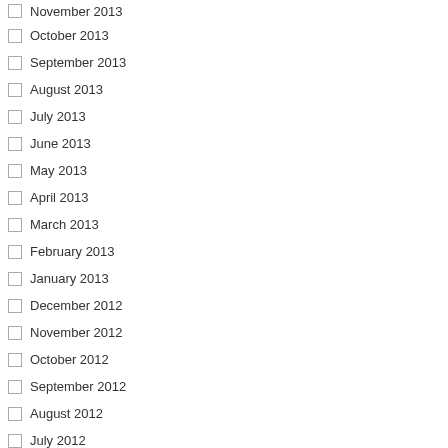November 2013
October 2013
September 2013
August 2013
July 2013
June 2013
May 2013
April 2013
March 2013
February 2013
January 2013
December 2012
November 2012
October 2012
September 2012
August 2012
July 2012
April 2011
March 2011
February 2011
January 2011
December 2010
November 2010
October 2010
September 2010
August 2010
July 2010
might like to try your hand at gambling on high risk p ok